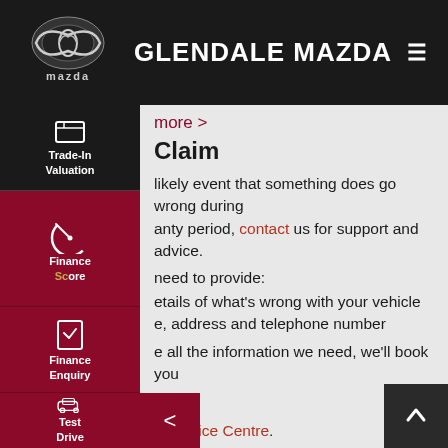GLENDALE MAZDA
more >
Claim
...likely event that something does go wrong during ...anty period, contact us for support and advice.
...need to provide:
...etails of what's wrong with your vehicle
...e, address and telephone number
...e all the information we need, we'll book you in for the repair at our Service Centre.
[Figure (logo): Mazda logo and sidebar navigation with Trade-In Valuation, Finance Score, Finance Enquiry, Test Drive icons]